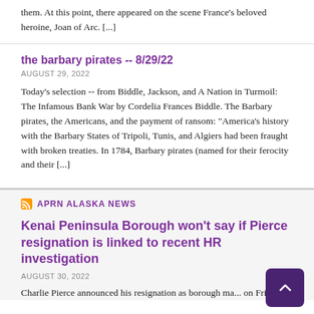them. At this point, there appeared on the scene France's beloved heroine, Joan of Arc. [...]
the barbary pirates -- 8/29/22
AUGUST 29, 2022
Today's selection -- from Biddle, Jackson, and A Nation in Turmoil: The Infamous Bank War by Cordelia Frances Biddle. The Barbary pirates, the Americans, and the payment of ransom: "America's history with the Barbary States of Tripoli, Tunis, and Algiers had been fraught with broken treaties. In 1784, Barbary pirates (named for their ferocity and their [...]
APRN ALASKA NEWS
Kenai Peninsula Borough won't say if Pierce resignation is linked to recent HR investigation
AUGUST 30, 2022
Charlie Pierce announced his resignation as borough ma... on Friday.